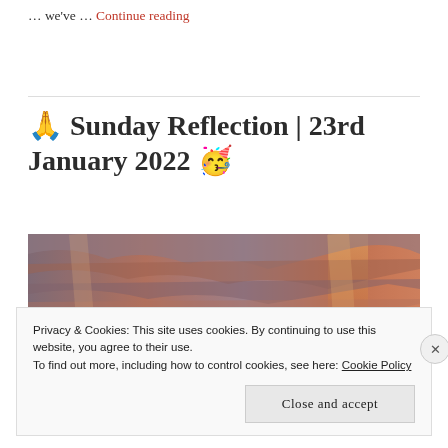… we've … Continue reading
🙏 Sunday Reflection | 23rd January 2022 🥳
[Figure (photo): Orange and grey dramatic sunset sky with clouds]
Privacy & Cookies: This site uses cookies. By continuing to use this website, you agree to their use. To find out more, including how to control cookies, see here: Cookie Policy
Close and accept